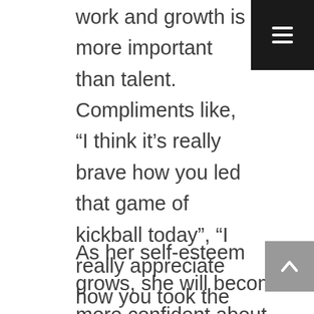work and growth is more important than talent. Compliments like, “I think it’s really brave how you led that game of kickball today”, “I really appreciate how you took the initiative and handed out snack at the meeting”, “I’m so proud of you for having that tough conversation with your friend, it couldn’t have been easy. You’re pretty brave for doing that.” All of these compliments root your words in her actions and show her the value of putting herself out there and gaining confidence in social situations.
As her self-esteem grows, she will become more confident about advocating for herself. Many shy girls may keep quiet about their needs and wants because of fear of judgement. As her adult, you have the power to help her ask for and find what